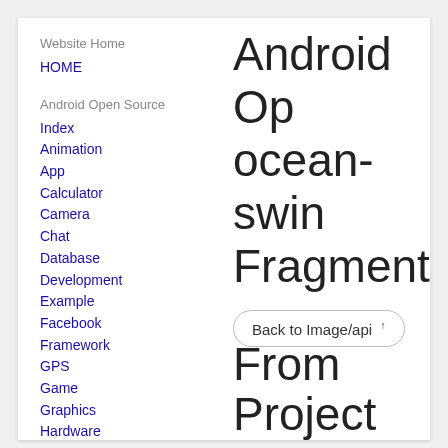Website Home
HOME
Android Open Source
Index
Animation
App
Calculator
Camera
Chat
Database
Development
Example
Facebook
Framework
GPS
Game
Graphics
Hardware
Image
Android Open Source ocean-swing Fragment
Back to Image/api ↑
From Project